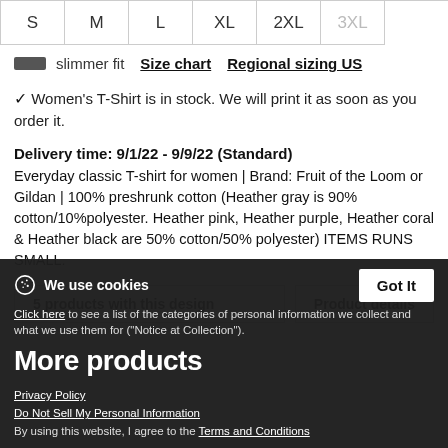S
M
L
XL
2XL
3XL
slimmer fit   Size chart   Regional sizing US
✓ Women's T-Shirt is in stock. We will print it as soon as you order it.
Delivery time: 9/1/22 - 9/9/22 (Standard)
Everyday classic T-shirt for women | Brand: Fruit of the Loom or Gildan | 100% preshrunk cotton (Heather gray is 90% cotton/10%polyester. Heather pink, Heather purple, Heather coral & Heather black are 50% cotton/50% polyester) ITEMS RUNS SMALL.
5 products with this design
Product details
We use cookies
Click here to see a list of the categories of personal information we collect and what we use them for ("Notice at Collection").
More products
Privacy Policy
Do Not Sell My Personal Information
By using this website, I agree to the Terms and Conditions